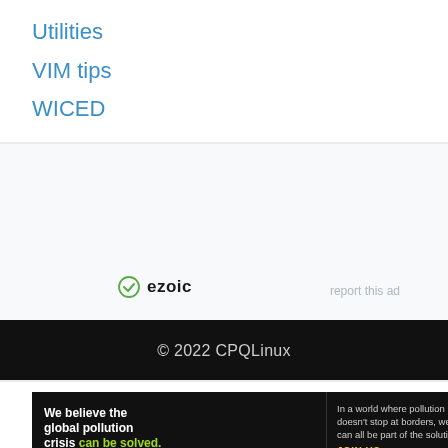Utilities
VIM tips
WICED
[Figure (other): Ezoic advertisement placeholder with ezoic logo on the left and 'report this ad' link on the right]
© 2022 CPQLinux
[Figure (other): Pure Earth advertisement banner: 'We believe the global pollution crisis can be solved.' with tagline and JOIN US call to action, Pure Earth logo on right]